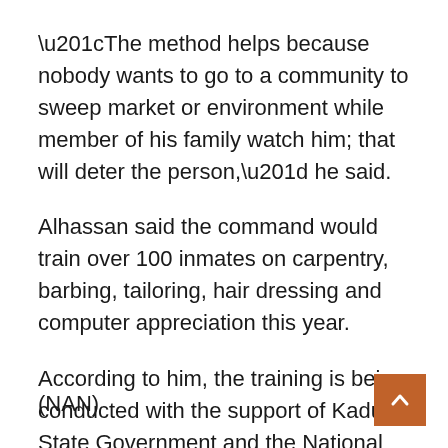“The method helps because nobody wants to go to a community to sweep market or environment while member of his family watch him; that will deter the person,” he said.
Alhassan said the command would train over 100 inmates on carpentry, barbing, tailoring, hair dressing and computer appreciation this year.
According to him, the training is being conducted with the support of Kaduna State Government and the National Open University.
(NAN)